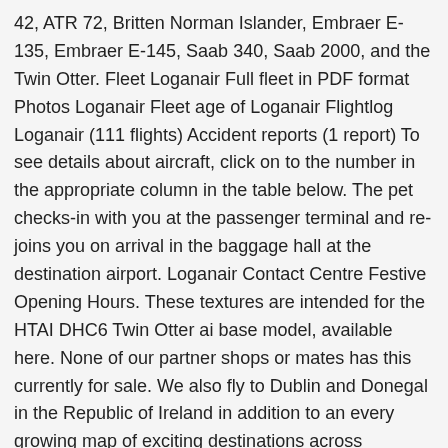42, ATR 72, Britten Norman Islander, Embraer E-135, Embraer E-145, Saab 340, Saab 2000, and the Twin Otter. Fleet Loganair Full fleet in PDF format Photos Loganair Fleet age of Loganair Flightlog Loganair (111 flights) Accident reports (1 report) To see details about aircraft, click on to the number in the appropriate column in the table below. The pet checks-in with you at the passenger terminal and re-joins you on arrival in the baggage hall at the destination airport. Loganair Contact Centre Festive Opening Hours. These textures are intended for the HTAI DHC6 Twin Otter ai base model, available here. None of our partner shops or mates has this currently for sale. We also fly to Dublin and Donegal in the Republic of Ireland in addition to an every growing map of exciting destinations across Northern Europe – including Bergen, Stavanger and Esbjerg. Marketplace. Loganair Limited, Lightyear Building, 9 Marchburn Drive, Glasgow Airport, Paisley, PA3 2SJ. Unfortunately, the following Logan Air routes do not accept pets on board: Twin Otter (for Barra, Tiree and Campbeltown), Dornier 328